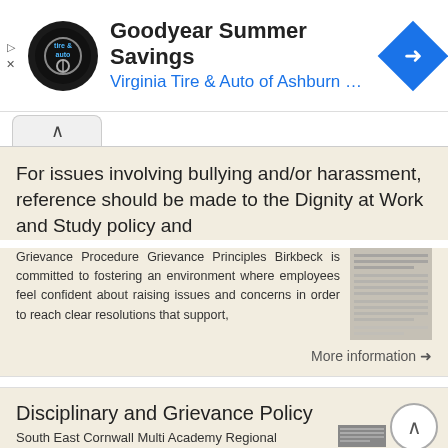[Figure (other): Goodyear Summer Savings advertisement banner with Virginia Tire & Auto of Ashburn logo and navigation icon]
For issues involving bullying and/or harassment, reference should be made to the Dignity at Work and Study policy and
Grievance Procedure Grievance Principles Birkbeck is committed to fostering an environment where employees feel confident about raising issues and concerns in order to reach clear resolutions that support,
More information →
Disciplinary and Grievance Policy
South East Cornwall Multi Academy Regional